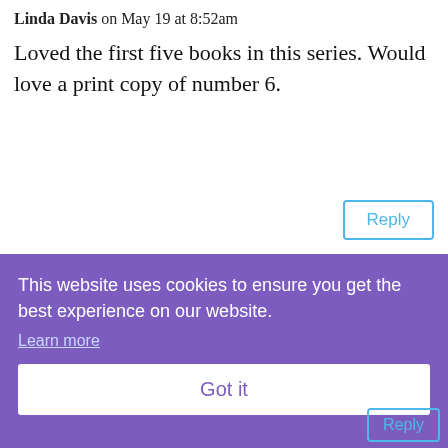Linda Davis on May 19 at 8:52am
Loved the first five books in this series. Would love a print copy of number 6.
Virginia Winfield on May 19 at 11:15am
Would love a print copy. Love the author
This website uses cookies to ensure you get the best experience on our website.
Learn more
Got it